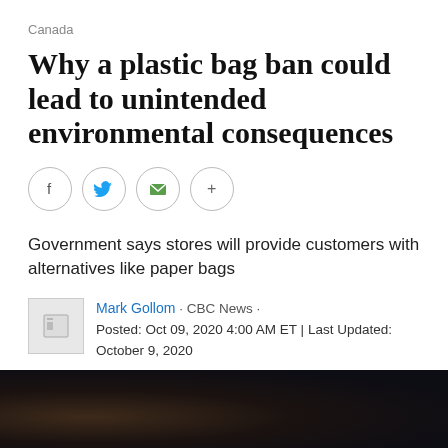Canada
Why a plastic bag ban could lead to unintended environmental consequences
[Figure (other): Social media share buttons: Facebook, Twitter, Email, More (+)]
Government says stores will provide customers with alternatives like paper bags
Mark Gollom · CBC News · Posted: Oct 09, 2020 4:00 AM ET | Last Updated: October 9, 2020
[Figure (photo): Dark photo of a person partially visible at the bottom of the page]